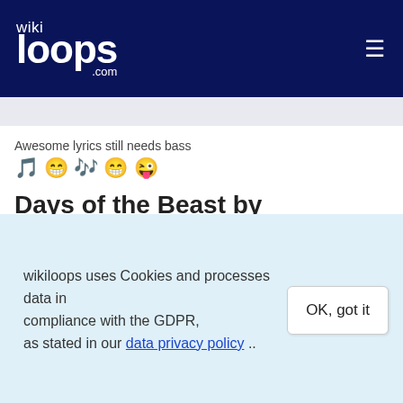wikiloops.com
Awesome lyrics still needs bass
Days of the Beast by rp3drums, axenvocs & axenvocs
wikiloops track ID: #238886
[Figure (other): Audio player with play button and waveform visualization showing a dark blue waveform with a red playhead marker]
wikiloops uses Cookies and processes data in compliance with the GDPR, as stated in our data privacy policy ..